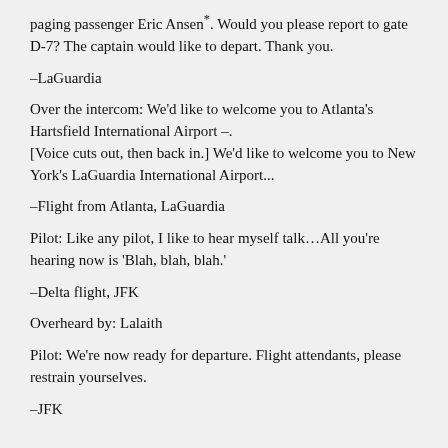paging passenger Eric Ansen*. Would you please report to gate D-7? The captain would like to depart. Thank you.
–LaGuardia
Over the intercom: We'd like to welcome you to Atlanta's Hartsfield International Airport –.
[Voice cuts out, then back in.] We'd like to welcome you to New York's LaGuardia International Airport...
–Flight from Atlanta, LaGuardia
Pilot: Like any pilot, I like to hear myself talk…All you're hearing now is 'Blah, blah, blah.'
–Delta flight, JFK
Overheard by: Lalaith
Pilot: We're now ready for departure. Flight attendants, please restrain yourselves.
–JFK